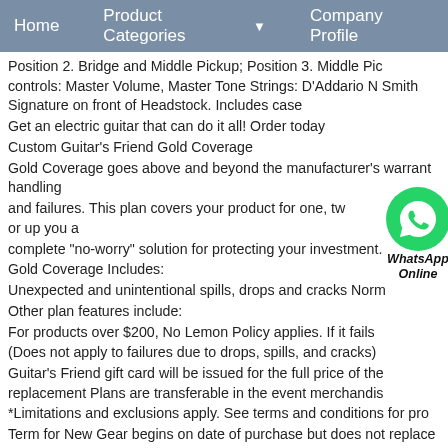Home   Product Categories ▼   Company Profile
Position 2. Bridge and Middle Pickup; Position 3. Middle Pickup controls: Master Volume, Master Tone Strings: D'Addario N Smith Signature on front of Headstock. Includes case
Get an electric guitar that can do it all! Order today
Custom Guitar's Friend Gold Coverage
Gold Coverage goes above and beyond the manufacturer's warranty handling
and failures. This plan covers your product for one, two, three or up you a
complete "no-worry" solution for protecting your investment.
Gold Coverage Includes:
Unexpected and unintentional spills, drops and cracks Norm
Other plan features include:
For products over $200, No Lemon Policy applies. If it fails
(Does not apply to failures due to drops, spills, and cracks)
Guitar's Friend gift card will be issued for the full price of the replacement Plans are transferable in the event merchandis
*Limitations and exclusions apply. See terms and conditions for pro
Term for New Gear begins on date of purchase but does not replace
Displaying reviews 1-5
Back to top
[Figure (logo): WhatsApp Online green circle icon with phone handset, labeled WhatsApp Online]